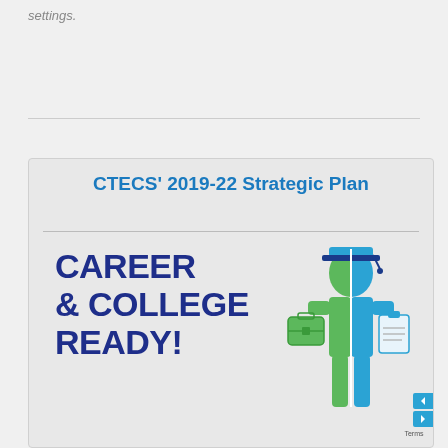settings.
[Figure (illustration): CTECS 2019-22 Strategic Plan card with 'Career & College Ready!' text and a split green/blue figure of a person holding a briefcase and clipboard with a hard hat/graduation cap]
CTECS’ 2019-22 Strategic Plan